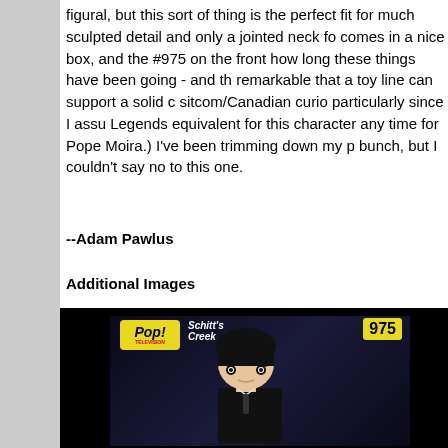figural, but this sort of thing is the perfect fit for much sculpted detail and only a jointed neck fo comes in a nice box, and the #975 on the front how long these things have been going - and th remarkable that a toy line can support a solid c sitcom/Canadian curio particularly since I assu Legends equivalent for this character any time for Pope Moira.) I've been trimming down my p bunch, but I couldn't say no to this one.
--Adam Pawlus
Additional Images
[Figure (photo): Funko Pop #975 Schitt's Creek vinyl figure in box. The box has a yellow POP! Television logo in the top left, 'Schitt's Creek' branding in white italic text, and the number 975 in a yellow badge on the right. The figure depicts a character with black hair, prominent eyebrows, and a black suit against a dark background.]